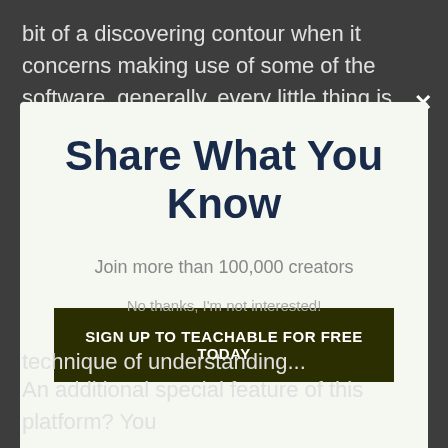bit of a discovering contour when it concerns making use of some of the software, generally, every little thing is very instinctive. You can get all
[Figure (screenshot): Modal popup overlay on a dark background. Contains bold title 'Share What You Know', subtitle 'Join more than 100,000 creators', a dark green CTA button 'SIGN UP TO TEACHABLE FOR FREE TODAY', and a dismiss link 'No thanks, I'm not interested!']
technique of understanding...
An additional special feature of this platform? You